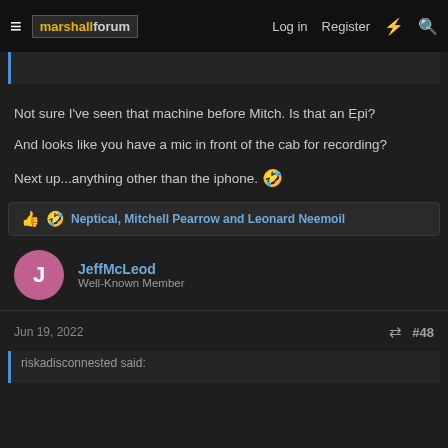marshallforum — Log in  Register
Not sure I've seen that machine before Mitch. Is that an Epi?
And looks like you have a mic in front of the cab for recording?
Next up...anything other than the iphone. 🤣
👍 🤣 Neptical, Mitchell Pearrow and Leonard Neemoil
JeffMcLeod
Well-Known Member
Jun 19, 2022  #48
riskadisconnested said: